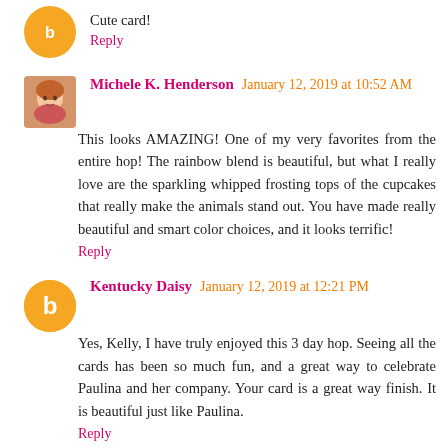Cute card!
Reply
Michele K. Henderson  January 12, 2019 at 10:52 AM
This looks AMAZING! One of my very favorites from the entire hop! The rainbow blend is beautiful, but what I really love are the sparkling whipped frosting tops of the cupcakes that really make the animals stand out. You have made really beautiful and smart color choices, and it looks terrific!
Reply
Kentucky Daisy  January 12, 2019 at 12:21 PM
Yes, Kelly, I have truly enjoyed this 3 day hop. Seeing all the cards has been so much fun, and a great way to celebrate Paulina and her company. Your card is a great way finish. It is beautiful just like Paulina.
Reply